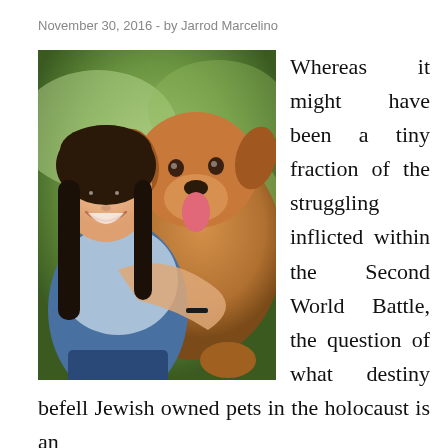November 30, 2016  -  by Jarrod Marcelino
[Figure (photo): Young woman smiling while hugging a large brown dog outdoors]
Whereas it might have been a tiny fraction of the struggling inflicted within the Second World Battle, the question of what destiny befell Jewish owned pets in the holocaust is an attention-grabbing one. Some players report they like grinding on pets the same stage as they're,